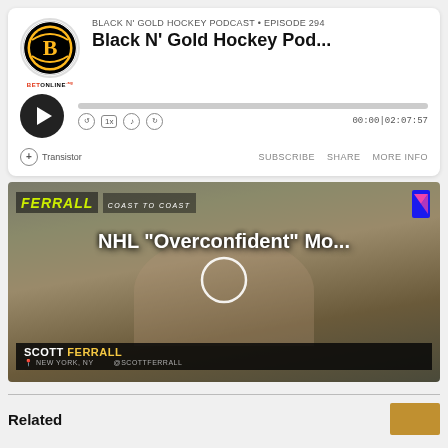BLACK N' GOLD HOCKEY PODCAST • EPISODE 294
Black N' Gold Hockey Pod...
[Figure (screenshot): Podcast audio player widget with play button, progress bar, speed controls, and Transistor branding. Shows time 00:00|02:07:57. Buttons: SUBSCRIBE, SHARE, MORE INFO.]
[Figure (screenshot): Video thumbnail showing Scott Ferrall on Ferrall Coast to Coast show, with NHL Overconfident Mo... title overlay, play button circle, and name bar reading SCOTT FERRALL, NEW YORK, NY, @SCOTTFERRALL]
Related